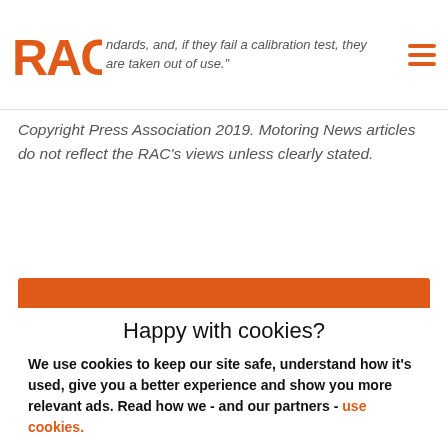RAC logo header with navigation menu icon and partial text: standards, and, if they fail a calibration test, they are taken out of use.
Copyright Press Association 2019. Motoring News articles do not reflect the RAC's views unless clearly stated.
Happy with cookies?
We use cookies to keep our site safe, understand how it's used, give you a better experience and show you more relevant ads. Read how we - and our partners - use cookies.
Yes, that's fine
No, manage cookies